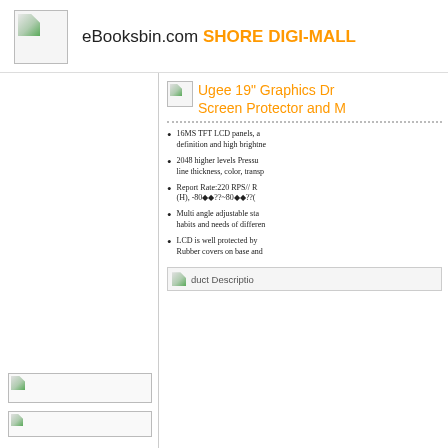eBooksbin.com SHORE DIGI-MALL
Ugee 19" Graphics Dr... Screen Protector and M...
16MS TFT LCD panels, a... definition and high brightne...
2048 higher levels Pressu... line thickness, color, transp...
Report Rate:220 RPS// R... (H), -80??~80??(
Multi angle adjustable sta... habits and needs of differen...
LCD is well protected by... Rubber covers on base and ...
Product Description